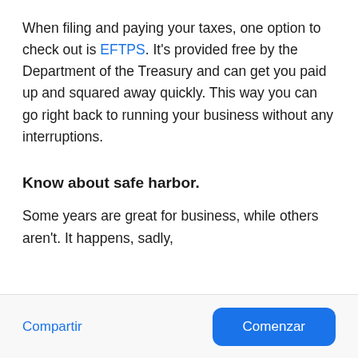When filing and paying your taxes, one option to check out is EFTPS. It's provided free by the Department of the Treasury and can get you paid up and squared away quickly. This way you can go right back to running your business without any interruptions.
Know about safe harbor.
Some years are great for business, while others aren't. It happens, sadly,
Compartir  Comenzar